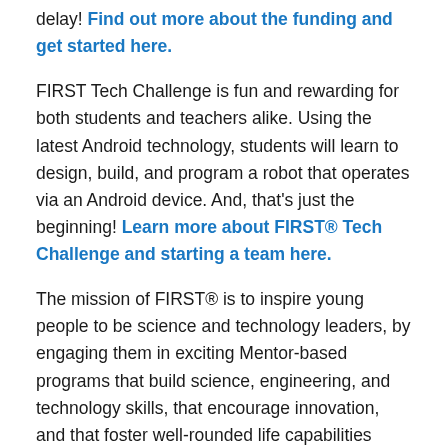delay! Find out more about the funding and get started here.
FIRST Tech Challenge is fun and rewarding for both students and teachers alike. Using the latest Android technology, students will learn to design, build, and program a robot that operates via an Android device. And, that's just the beginning! Learn more about FIRST® Tech Challenge and starting a team here.
The mission of FIRST® is to inspire young people to be science and technology leaders, by engaging them in exciting Mentor-based programs that build science, engineering, and technology skills, that encourage innovation, and that foster well-rounded life capabilities including self-confidence, communication, and leadership.
Join a vibrant community of over 400,000 participants and